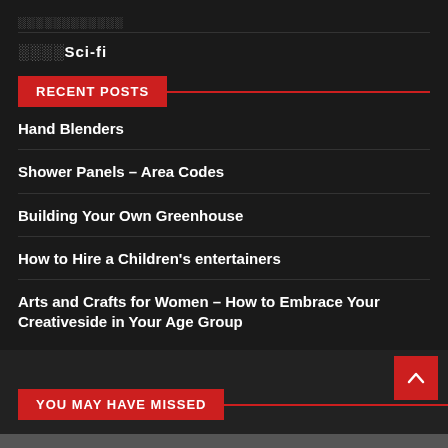░░░░░░░░░░░░
░░░░Sci-fi
RECENT POSTS
Hand Blenders
Shower Panels – Area Codes
Building Your Own Greenhouse
How to Hire a Children's entertainers
Arts and Crafts for Women – How to Embrace Your Creativeside in Your Age Group
YOU MAY HAVE MISSED